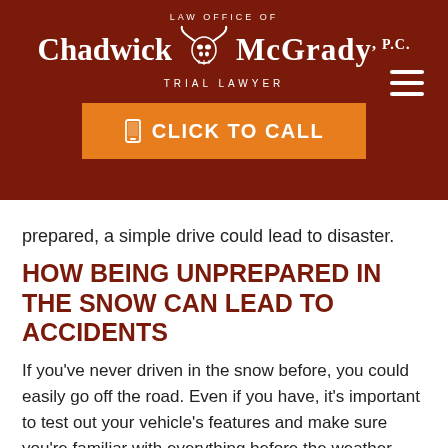[Figure (logo): Law Office of Chadwick McGrady, P.C. Trial Lawyer logo with longhorn skull on dark red background]
CLICK TO CALL
prepared, a simple drive could lead to disaster.
HOW BEING UNPREPARED IN THE SNOW CAN LEAD TO ACCIDENTS
If you’ve never driven in the snow before, you could easily go off the road. Even if you have, it’s important to test out your vehicle’s features and make sure you’re familiar with everything before the weather gets bad. You can practice driving,